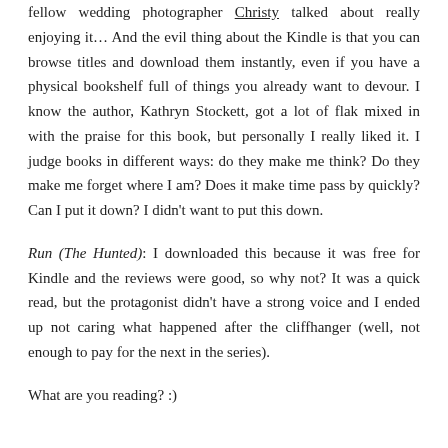fellow wedding photographer Christy talked about really enjoying it… And the evil thing about the Kindle is that you can browse titles and download them instantly, even if you have a physical bookshelf full of things you already want to devour. I know the author, Kathryn Stockett, got a lot of flak mixed in with the praise for this book, but personally I really liked it. I judge books in different ways: do they make me think? Do they make me forget where I am? Does it make time pass by quickly? Can I put it down? I didn't want to put this down.
Run (The Hunted): I downloaded this because it was free for Kindle and the reviews were good, so why not? It was a quick read, but the protagonist didn't have a strong voice and I ended up not caring what happened after the cliffhanger (well, not enough to pay for the next in the series).
What are you reading? :)